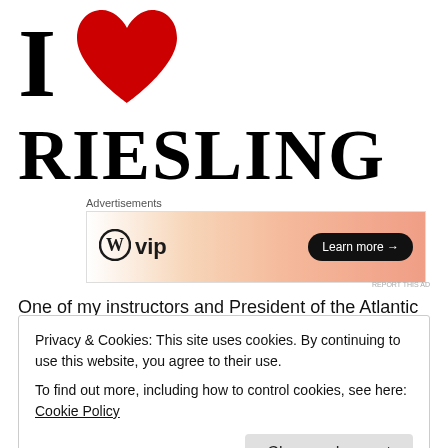[Figure (illustration): I Love Riesling logo: large black serif 'I', large red heart, and bold black serif 'RIESLING' text below]
Advertisements
[Figure (screenshot): WordPress VIP advertisement banner with gradient background and 'Learn more' button]
One of my instructors and President of the Atlantic
Privacy & Cookies: This site uses cookies. By continuing to use this website, you agree to their use.
To find out more, including how to control cookies, see here: Cookie Policy
Close and accept
comes in dry and sweet, (personally I like a little